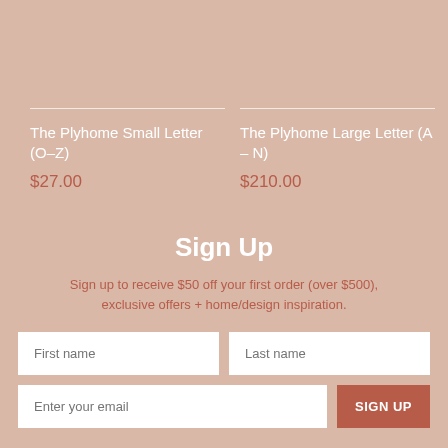The Plyhome Small Letter (O–Z)
$27.00
The Plyhome Large Letter (A – N)
$210.00
Sign Up
Sign up to receive $50 off your first order (over $500), exclusive offers + home/design inspiration.